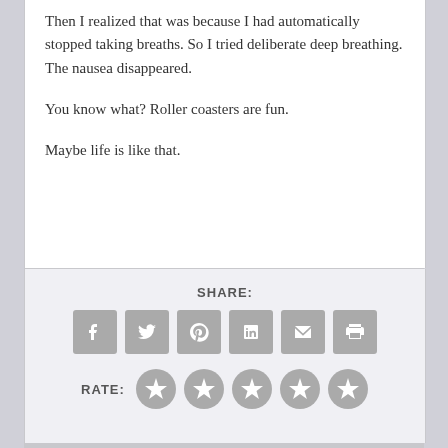Then I realized that was because I had automatically stopped taking breaths. So I tried deliberate deep breathing. The nausea disappeared.
You know what? Roller coasters are fun.
Maybe life is like that.
SHARE:
[Figure (infographic): Row of 6 social sharing icon buttons (Facebook, Twitter, Pinterest, LinkedIn, Email, Print) in grey rounded squares]
RATE:
[Figure (infographic): 5 grey star rating icons]